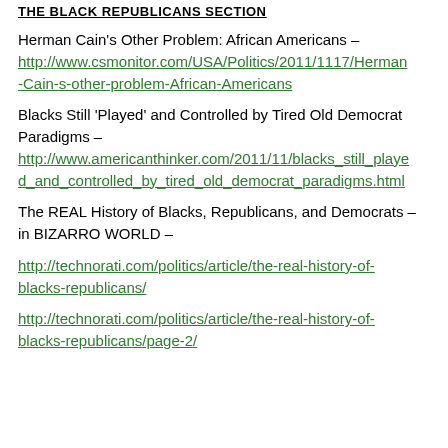THE BLACK REPUBLICANS SECTION
Herman Cain's Other Problem: African Americans – http://www.csmonitor.com/USA/Politics/2011/1117/Herman-Cain-s-other-problem-African-Americans
Blacks Still 'Played' and Controlled by Tired Old Democrat Paradigms – http://www.americanthinker.com/2011/11/blacks_still_played_and_controlled_by_tired_old_democrat_paradigms.html
The REAL History of Blacks, Republicans, and Democrats – in BIZARRO WORLD –
http://technorati.com/politics/article/the-real-history-of-blacks-republicans/
http://technorati.com/politics/article/the-real-history-of-blacks-republicans/page-2/